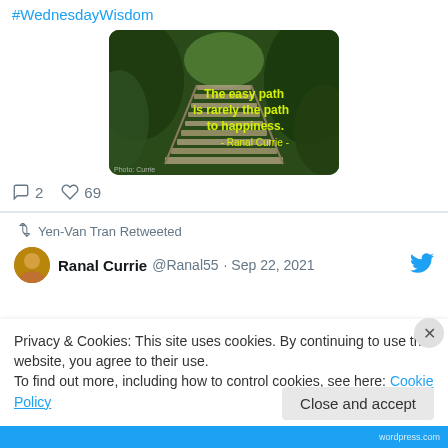#WednesdayWisdom
[Figure (photo): Outdoor wooden bridge/path with green foliage on both sides, with a yellow quote overlay: 'The easy path is rarely the path to happiness. - Ranal Currie'. Photo credit: Currie.]
2 replies, 69 likes
Yen-Van Tran Retweeted
Ranal Currie @Ranal55 · Sep 22, 2021
Privacy & Cookies: This site uses cookies. By continuing to use this website, you agree to their use.
To find out more, including how to control cookies, see here: Cookie Policy